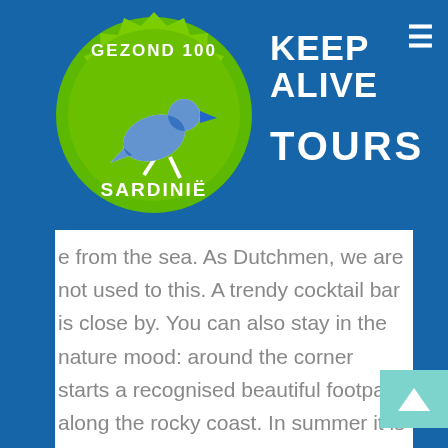[Figure (logo): Green circular badge logo with bird/penguin silhouette, text 'GEZOND 100' at top, 'SARDINIË' at bottom, white bird running figure in center]
KEEP ALIVE TOURS
from the sea. As Dutchmen, we are not used to this. A trendy cocktail bar is close by. You can also stay in the nature mood: around the corner starts a recognised beautiful footpath along the rocky coast. In summer it is crowded here, but by now you know how it goes: we take a slightly different route, branching out, towards that lonely little bay. You can take a dive! Or you can take a rest at the hotel, delicious. We have dinner later, it's a bit touristy, but nice after the last few days. People probably notice something wild in